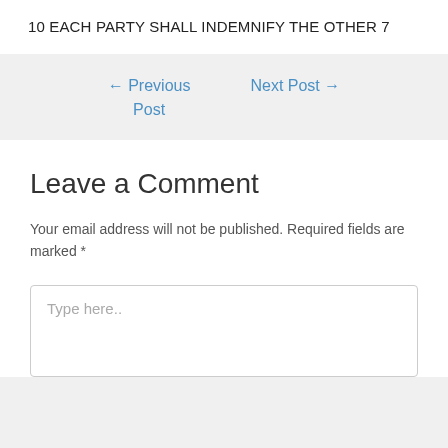10 EACH PARTY SHALL INDEMNIFY THE OTHER 7
← Previous Post
Next Post →
Leave a Comment
Your email address will not be published. Required fields are marked *
Type here..